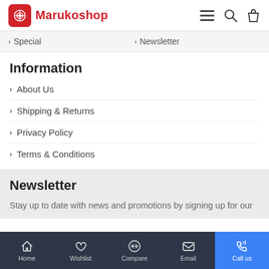Marukoshop
Special
Newsletter
Information
About Us
Shipping & Returns
Privacy Policy
Terms & Conditions
Newsletter
Stay up to date with news and promotions by signing up for our newsletter
Home  Wishlist  Compare  Email  Call us